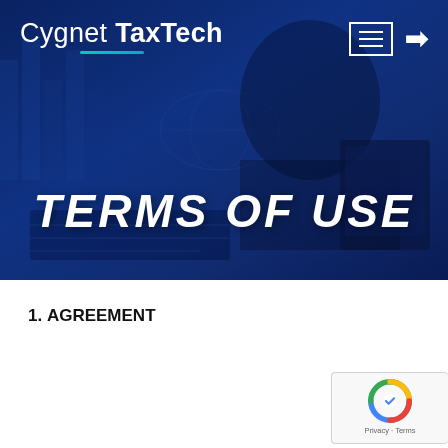[Figure (screenshot): Hero banner with dark blue overlay showing a person working at a desk with digital data visualization elements, branded with Cygnet TaxTech logo and navigation icons]
Cygnet TaxTech
TERMS OF USE
1. AGREEMENT
Partial text visible at bottom of page